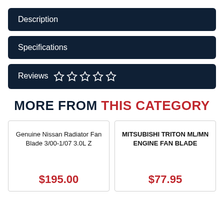Description
Specifications
Reviews ☆ ☆ ☆ ☆ ☆
MORE FROM THIS CATEGORY
Genuine Nissan Radiator Fan Blade 3/00-1/07 3.0L Z
$195.00
MITSUBISHI TRITON ML/MN ENGINE FAN BLADE
$77.95